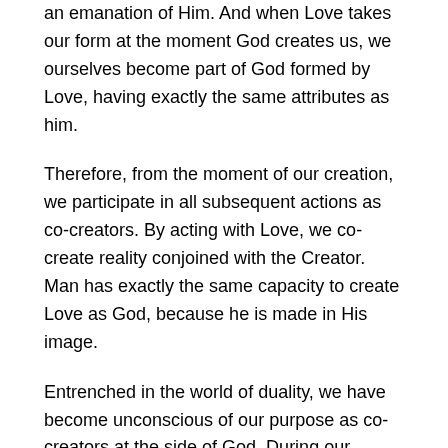an emanation of Him. And when Love takes our form at the moment God creates us, we ourselves become part of God formed by Love, having exactly the same attributes as him.
Therefore, from the moment of our creation, we participate in all subsequent actions as co-creators. By acting with Love, we co-create reality conjoined with the Creator. Man has exactly the same capacity to create Love as God, because he is made in His image.
Entrenched in the world of duality, we have become unconscious of our purpose as co-creators at the side of God. During our evolution, we will gradually take back our place – with each action of Love!
The qualities of love